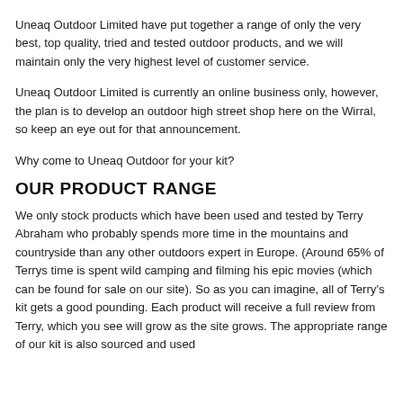Uneaq Outdoor Limited have put together a range of only the very best, top quality, tried and tested outdoor products, and we will maintain only the very highest level of customer service.
Uneaq Outdoor Limited is currently an online business only, however, the plan is to develop an outdoor high street shop here on the Wirral, so keep an eye out for that announcement.
Why come to Uneaq Outdoor for your kit?
OUR PRODUCT RANGE
We only stock products which have been used and tested by Terry Abraham who probably spends more time in the mountains and countryside than any other outdoors expert in Europe. (Around 65% of Terrys time is spent wild camping and filming his epic movies (which can be found for sale on our site). So as you can imagine, all of Terry's kit gets a good pounding. Each product will receive a full review from Terry, which you see will grow as the site grows. The appropriate range of our kit is also sourced and used